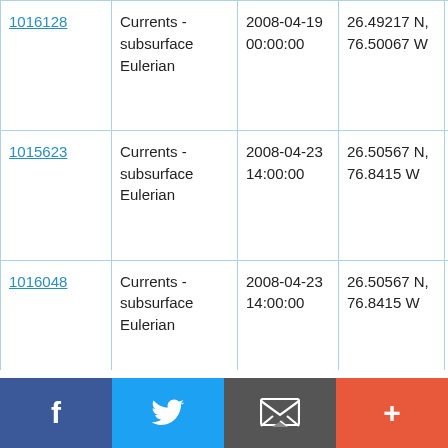| ID | Type | Date/Time | Location | Cruise |
| --- | --- | --- | --- | --- |
| 1016128 | Currents - subsurface Eulerian | 2008-04-19 00:00:00 | 26.49217 N, 76.50067 W | RV Seward Johnson SJ-08-03 Leg 1 |
| 1015623 | Currents - subsurface Eulerian | 2008-04-23 14:00:00 | 26.50567 N, 76.8415 W | RV Seward Johnson SJ-08-03 Leg 2 |
| 1016048 | Currents - subsurface Eulerian | 2008-04-23 14:00:00 | 26.50567 N, 76.8415 W | RV Seward Johnson SJ-08-03 Leg 2 |
f  Twitter  Email  +